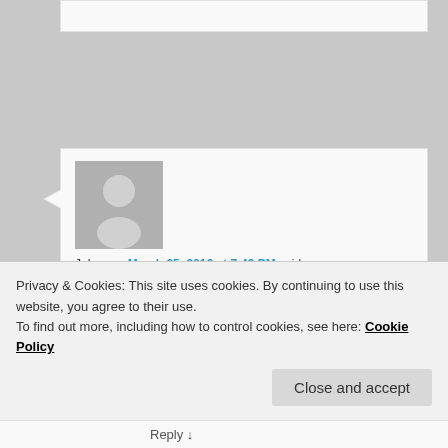[Figure (screenshot): Partial top comment box, gray background area]
Johan on March 25, 2016 at 7:49 PM said:
Amazing content. I have done 25-hour dry fasting and many days of intermittent fasting. Now I
Privacy & Cookies: This site uses cookies. By continuing to use this website, you agree to their use.
To find out more, including how to control cookies, see here: Cookie Policy
Close and accept
Reply ↓